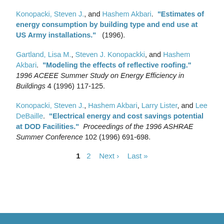Konopacki, Steven J., and Hashem Akbari. "Estimates of energy consumption by building type and end use at US Army installations." (1996).
Gartland, Lisa M., Steven J. Konopackki, and Hashem Akbari. "Modeling the effects of reflective roofing." 1996 ACEEE Summer Study on Energy Efficiency in Buildings 4 (1996) 117-125.
Konopacki, Steven J., Hashem Akbari, Larry Lister, and Lee DeBaille. "Electrical energy and cost savings potential at DOD Facilities." Proceedings of the 1996 ASHRAE Summer Conference 102 (1996) 691-698.
1  2  Next›  Last»